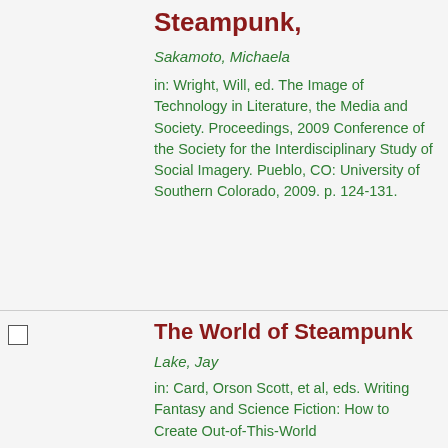Steampunk,
Sakamoto, Michaela
in: Wright, Will, ed. The Image of Technology in Literature, the Media and Society. Proceedings, 2009 Conference of the Society for the Interdisciplinary Study of Social Imagery. Pueblo, CO: University of Southern Colorado, 2009. p. 124-131.
The World of Steampunk
Lake, Jay
in: Card, Orson Scott, et al, eds. Writing Fantasy and Science Fiction: How to Create Out-of-This-World